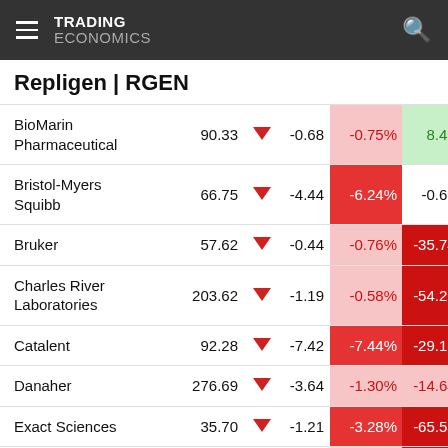TRADING ECONOMICS
Repligen | RGEN
| Name | Price |  | Change | % Day | % Year |
| --- | --- | --- | --- | --- | --- |
| BioMarin Pharmaceutical | 90.33 | ▼ | -0.68 | -0.75% | 8.48% |
| Bristol-Myers Squibb | 66.75 | ▼ | -4.44 | -6.24% | -0.68% |
| Bruker | 57.62 | ▼ | -0.44 | -0.76% | -35.74% |
| Charles River Laboratories | 203.62 | ▼ | -1.19 | -0.58% | -54.21% |
| Catalent | 92.28 | ▼ | -7.42 | -7.44% | -29.18% |
| Danaher | 276.69 | ▼ | -3.64 | -1.30% | -14.64% |
| Exact Sciences | 35.70 | ▼ | -1.21 | -3.28% | -65.53% |
| Standard | 1.42 | ▲ | 0.02 | 1.43% | -80.31% |